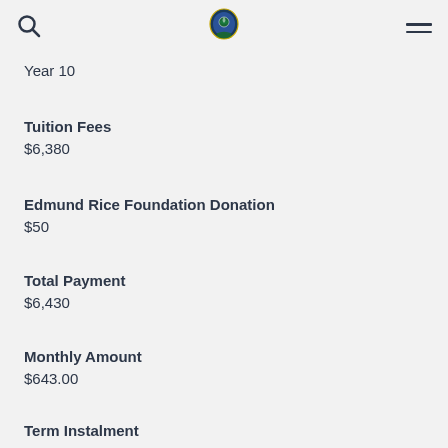Year 10
Tuition Fees
$6,380
Edmund Rice Foundation Donation
$50
Total Payment
$6,430
Monthly Amount
$643.00
Term Instalment